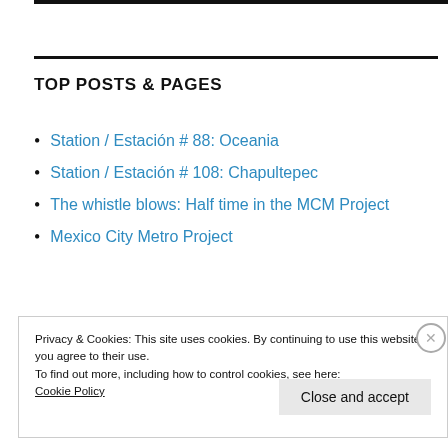TOP POSTS & PAGES
Station / Estación # 88: Oceania
Station / Estación # 108: Chapultepec
The whistle blows: Half time in the MCM Project
Mexico City Metro Project
Privacy & Cookies: This site uses cookies. By continuing to use this website, you agree to their use.
To find out more, including how to control cookies, see here:
Cookie Policy
Close and accept